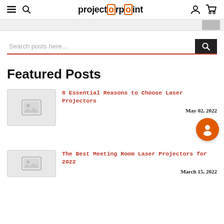projectorpoint navigation bar with hamburger, search, user, and cart icons
[Figure (screenshot): Grey banner strip with partial image on right]
Search posts here...
Featured Posts
[Figure (photo): Placeholder image thumbnail for first post]
8 Essential Reasons to Choose Laser Projectors
May 02, 2022
[Figure (illustration): Orange avatar circle icon]
[Figure (photo): Placeholder image thumbnail for second post]
The Best Meeting Room Laser Projectors for 2022
March 15, 2022